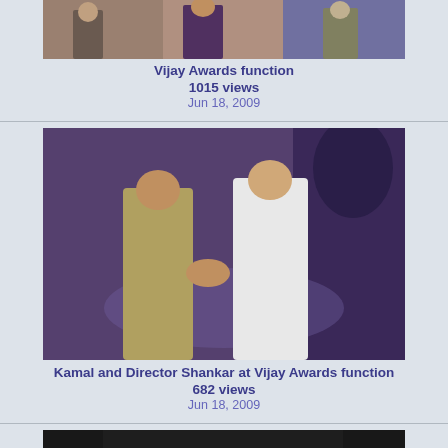[Figure (photo): Photo from Vijay Awards function showing people on stage]
Vijay Awards function
1015 views
Jun 18, 2009
[Figure (photo): Kamal and Director Shankar shaking hands on stage at Vijay Awards function with purple background]
Kamal and Director Shankar at Vijay Awards function
682 views
Jun 18, 2009
[Figure (photo): Kamal standing at Vijay Awards with microphone, UniverCell banner in background]
Kamal at Vijay Awards
483 views
Jun 17, 2009
[Figure (photo): Two people at Vijay Awards with UniverCell banner in background]